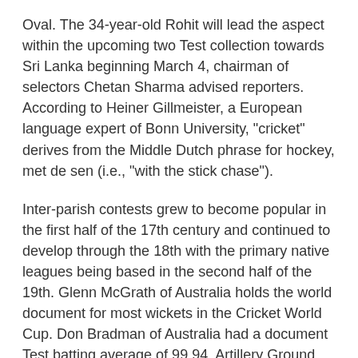Oval. The 34-year-old Rohit will lead the aspect within the upcoming two Test collection towards Sri Lanka beginning March 4, chairman of selectors Chetan Sharma advised reporters. According to Heiner Gillmeister, a European language expert of Bonn University, "cricket" derives from the Middle Dutch phrase for hockey, met de sen (i.e., "with the stick chase").
Inter-parish contests grew to become popular in the first half of the 17th century and continued to develop through the 18th with the primary native leagues being based in the second half of the 19th. Glenn McGrath of Australia holds the world document for most wickets in the Cricket World Cup. Don Bradman of Australia had a document Test batting average of 99.94. Artillery Ground, Finsbury, which saw a famous match between Kent and All-England in 1744. Ball, once presumably a stone, has remained much the identical since the 17th century. Its fashionable weight of between 5.5 and 5.75 ounces was established in 1774.